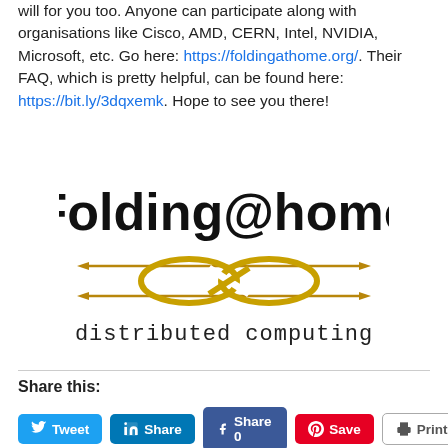will for you too. Anyone can participate along with organisations like Cisco, AMD, CERN, Intel, NVIDIA, Microsoft, etc. Go here: https://foldingathome.org/. Their FAQ, which is pretty helpful, can be found here: https://bit.ly/3dqxemk. Hope to see you there!
[Figure (logo): Folding@home distributed computing logo with decorative knotted rope design]
Share this:
Tweet | Share | Share 0 | Save | Print